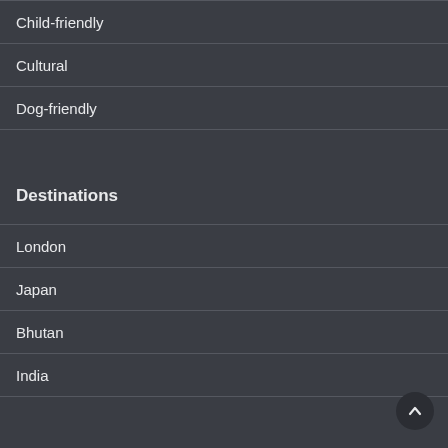Child-friendly
Cultural
Dog-friendly
Destinations
London
Japan
Bhutan
India